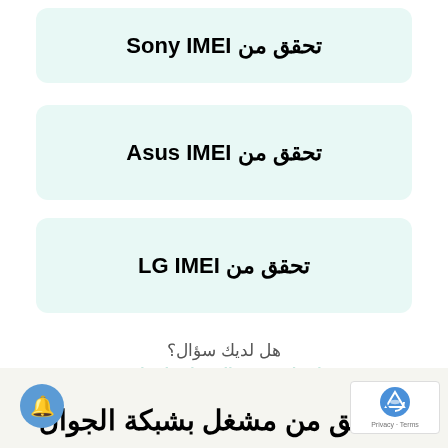تحقق من Sony IMEI
تحقق من Asus IMEI
تحقق من LG IMEI
هل لديك سؤال؟
اتصل بفريق المبيعات لدينا >
التحقق من مشغل بشبكة الجوال